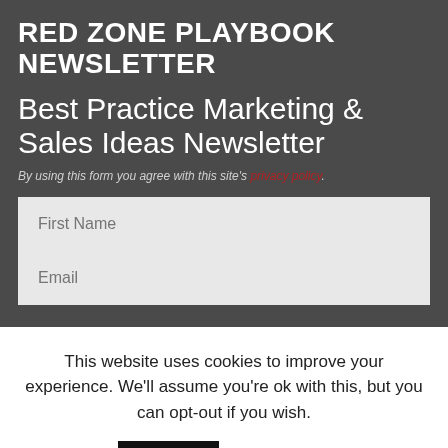RED ZONE PLAYBOOK NEWSLETTER
Best Practice Marketing & Sales Ideas Newsletter
By using this form you agree with this site's privacy policy.
First Name
Email
This website uses cookies to improve your experience. We'll assume you're ok with this, but you can opt-out if you wish.
Accept
Read More